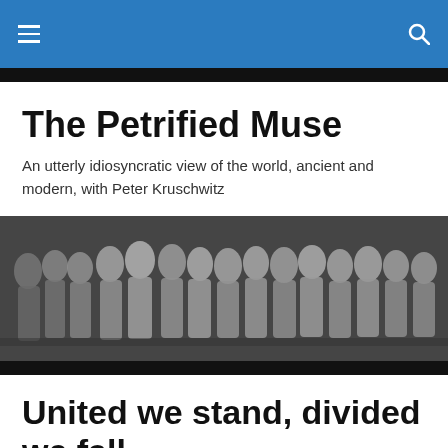The Petrified Muse — navigation bar
The Petrified Muse
An utterly idiosyncratic view of the world, ancient and modern, with Peter Kruschwitz
[Figure (photo): Black and white photograph of an ancient stone relief sculpture showing multiple robed figures in a procession or gathering, classical Greco-Roman style.]
United we stand, divided we fall
A Latin inscription from Beirut, dating to the third century A.D., records a conflict between shipowners from Arelate